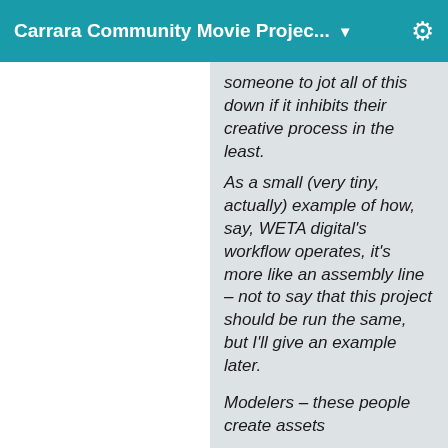Carrara Community Movie Projec... ▼
someone to jot all of this down if it inhibits their creative process in the least.
As a small (very tiny, actually) example of how, say, WETA digital's workflow operates, it's more like an assembly line – not to say that this project should be run the same, but I'll give an example later.
Modelers – these people create assets
Riggers – often some of
[Figure (screenshot): White blank left panel area]